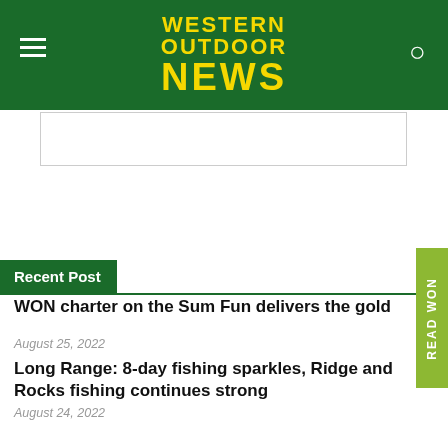WESTERN OUTDOOR NEWS
Recent Post
WON charter on the Sum Fun delivers the gold
August 25, 2022
Long Range: 8-day fishing sparkles, Ridge and Rocks fishing continues strong
August 24, 2022
Kick off the fall in fine style with the 17th annual WON Big Bear Lake Troutfest
August 24, 2022